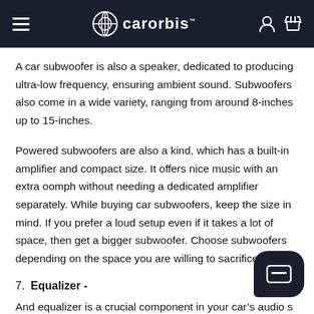carorbis
A car subwoofer is also a speaker, dedicated to producing ultra-low frequency, ensuring ambient sound. Subwoofers also come in a wide variety, ranging from around 8-inches up to 15-inches.
Powered subwoofers are also a kind, which has a built-in amplifier and compact size. It offers nice music with an extra oomph without needing a dedicated amplifier separately. While buying car subwoofers, keep the size in mind. If you prefer a loud setup even if it takes a lot of space, then get a bigger subwoofer. Choose subwoofers depending on the space you are willing to sacrifice.
7. Equalizer -
And equalizer is a crucial component in your car's audio s… improving the sound quality. Depending on the audio setup, you